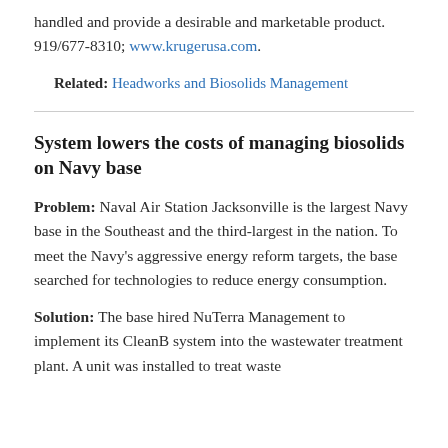handled and provide a desirable and marketable product. 919/677-8310; www.krugerusa.com.
Related: Headworks and Biosolids Management
System lowers the costs of managing biosolids on Navy base
Problem: Naval Air Station Jacksonville is the largest Navy base in the Southeast and the third-largest in the nation. To meet the Navy's aggressive energy reform targets, the base searched for technologies to reduce energy consumption.
Solution: The base hired NuTerra Management to implement its CleanB system into the wastewater treatment plant. A unit was installed to treat waste